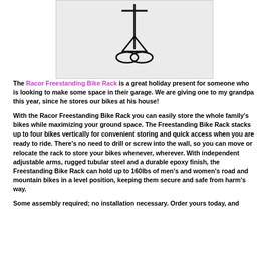[Figure (illustration): Illustration of a Racor Freestanding Bike Rack shown against a light gray background, depicting the vertical rack structure with a triangular base and hook/arm mechanism at top.]
The Racor Freestanding Bike Rack is a great holiday present for someone who is looking to make some space in their garage. We are giving one to my grandpa this year, since he stores our bikes at his house!
With the Racor Freestanding Bike Rack you can easily store the whole family's bikes while maximizing your ground space. The Freestanding Bike Rack stacks up to four bikes vertically for convenient storing and quick access when you are ready to ride. There's no need to drill or screw into the wall, so you can move or relocate the rack to store your bikes whenever, wherever. With independent adjustable arms, rugged tubular steel and a durable epoxy finish, the Freestanding Bike Rack can hold up to 160lbs of men's and women's road and mountain bikes in a level position, keeping them secure and safe from harm's way.
Some assembly required; no installation necessary. Order yours today, and